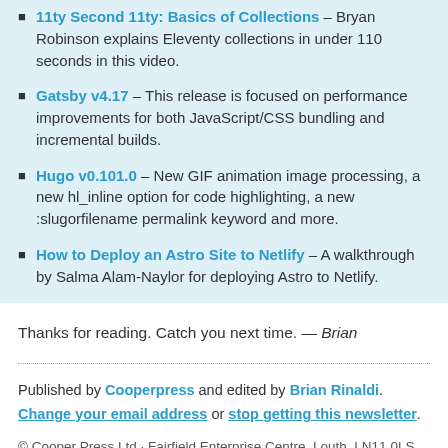11ty Second 11ty: Basics of Collections – Bryan Robinson explains Eleventy collections in under 110 seconds in this video.
Gatsby v4.17 – This release is focused on performance improvements for both JavaScript/CSS bundling and incremental builds.
Hugo v0.101.0 – New GIF animation image processing, a new hl_inline option for code highlighting, a new :slugorfilename permalink keyword and more.
How to Deploy an Astro Site to Netlify – A walkthrough by Salma Alam-Naylor for deploying Astro to Netlify.
Thanks for reading. Catch you next time. — Brian
Published by Cooperpress and edited by Brian Rinaldi. Change your email address or stop getting this newsletter.
© Cooper Press Ltd · Fairfield Enterprise Centre, Louth, LN11 0LS, United